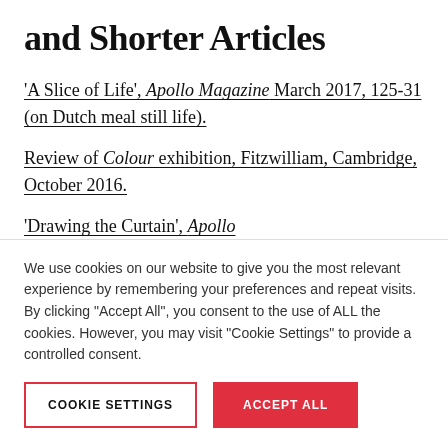and Shorter Articles
‘A Slice of Life’, Apollo Magazine March 2017, 125-31 (on Dutch meal still life).
Review of Colour exhibition, Fitzwilliam, Cambridge, October 2016.
‘Drawing the Curtain’, Apollo
We use cookies on our website to give you the most relevant experience by remembering your preferences and repeat visits. By clicking “Accept All”, you consent to the use of ALL the cookies. However, you may visit “Cookie Settings” to provide a controlled consent.
COOKIE SETTINGS | ACCEPT ALL